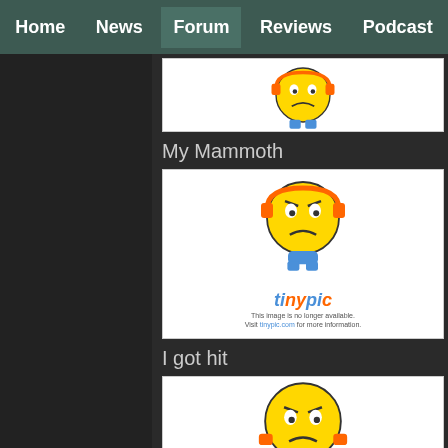Home | News | Forum | Reviews | Podcast
[Figure (screenshot): TinyPic placeholder image (cropped at top) showing a frowning yellow cartoon character with orange headphones and blue feet, with text 'This image is no longer available. Visit tinypic.com for more information.']
My Mammoth
[Figure (screenshot): TinyPic placeholder image showing a frowning yellow cartoon character with orange headphones and blue feet, with text 'This image is no longer available. Visit tinypic.com for more information.']
I got hit
[Figure (screenshot): TinyPic placeholder image (cropped at bottom) showing a frowning yellow cartoon character with orange arms visible.]